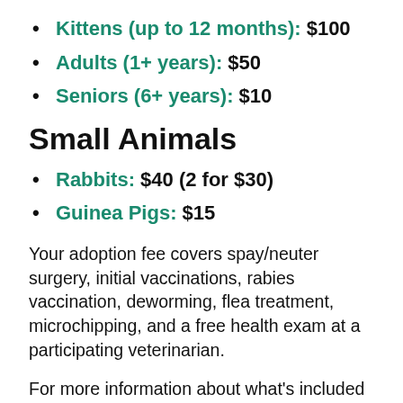Kittens (up to 12 months): $100
Adults (1+ years): $50
Seniors (6+ years): $10
Small Animals
Rabbits: $40 (2 for $30)
Guinea Pigs: $15
Your adoption fee covers spay/neuter surgery, initial vaccinations, rabies vaccination, deworming, flea treatment, microchipping, and a free health exam at a participating veterinarian.
For more information about what's included in your adoption fee, or any other questions about the adoption process, reach out to Olympic Peninsula Humane Society in Port Angeles